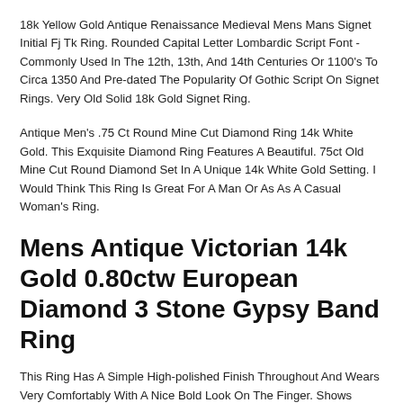18k Yellow Gold Antique Renaissance Medieval Mens Mans Signet Initial Fj Tk Ring. Rounded Capital Letter Lombardic Script Font - Commonly Used In The 12th, 13th, And 14th Centuries Or 1100's To Circa 1350 And Pre-dated The Popularity Of Gothic Script On Signet Rings. Very Old Solid 18k Gold Signet Ring.
Antique Men's .75 Ct Round Mine Cut Diamond Ring 14k White Gold. This Exquisite Diamond Ring Features A Beautiful. 75ct Old Mine Cut Round Diamond Set In A Unique 14k White Gold Setting. I Would Think This Ring Is Great For A Man Or As As A Casual Woman's Ring.
Mens Antique Victorian 14k Gold 0.80ctw European Diamond 3 Stone Gypsy Band Ring
This Ring Has A Simple High-polished Finish Throughout And Wears Very Comfortably With A Nice Bold Look On The Finger. Shows Normal Wear Consistent With Its Age, Otherwise In Excellent Overall Condition!
Fine Jewelry 14 Kt Solid White Gold Skeleton Onyx Antique Ring Size